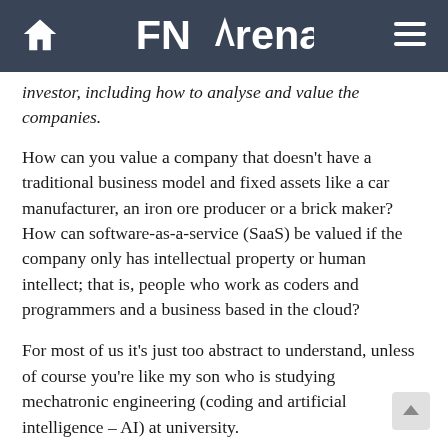FNArena
investor, including how to analyse and value the companies.
How can you value a company that doesn't have a traditional business model and fixed assets like a car manufacturer, an iron ore producer or a brick maker? How can software-as-a-service (SaaS) be valued if the company only has intellectual property or human intellect; that is, people who work as coders and programmers and a business based in the cloud?
For most of us it's just too abstract to understand, unless of course you're like my son who is studying mechatronic engineering (coding and artificial intelligence – AI) at university.
Tech behemoths like Amazon, Microsoft and Google are leading world businesses in cloud-based software systems. Valuing these technology companies has and continues to be a very hotly debated issue in the share investment world and isn't going away any time soon.
Many of these 21st century businesses – like Netflix, Amazon, Google,